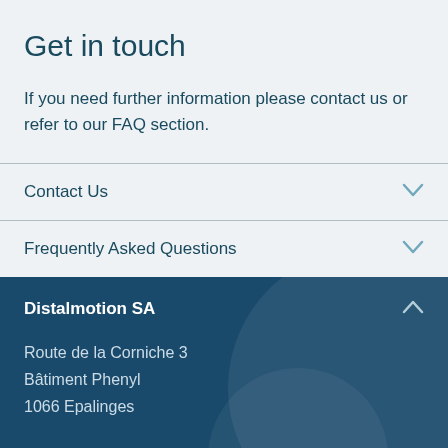Get in touch
If you need further information please contact us or refer to our FAQ section.
Contact Us
Frequently Asked Questions
Distalmotion SA
Route de la Corniche 3
Bâtiment Phenyl
1066 Epalinges